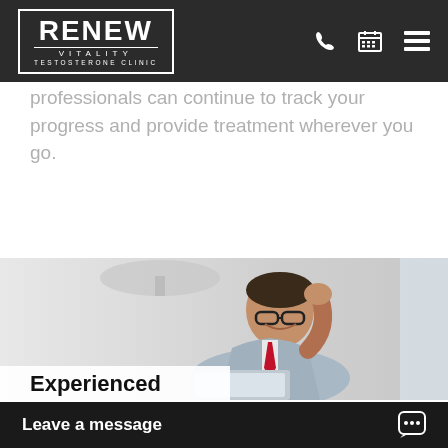RENEW VITALITY TESTOSTERONE CLINIC
professionals can continue to track your progress and provide treatment wherever you go.
[Figure (photo): Man in a light grey suit and red tie wearing glasses, smiling and raising his fist in celebration while looking at a laptop, in a bright office setting.]
Experienced
Leave a message